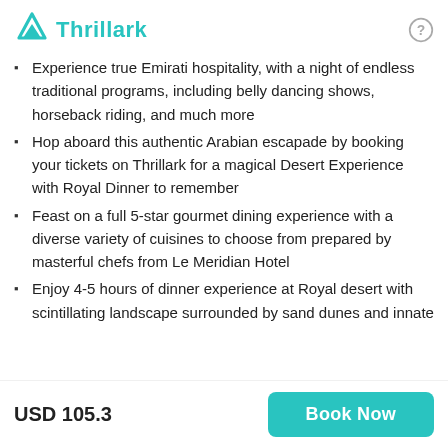Thrillark
Experience true Emirati hospitality, with a night of endless traditional programs, including belly dancing shows, horseback riding, and much more
Hop aboard this authentic Arabian escapade by booking your tickets on Thrillark for a magical Desert Experience with Royal Dinner to remember
Feast on a full 5-star gourmet dining experience with a diverse variety of cuisines to choose from prepared by masterful chefs from Le Meridian Hotel
Enjoy 4-5 hours of dinner experience at Royal desert with scintillating landscape surrounded by sand dunes and innate
USD 105.3
Book Now